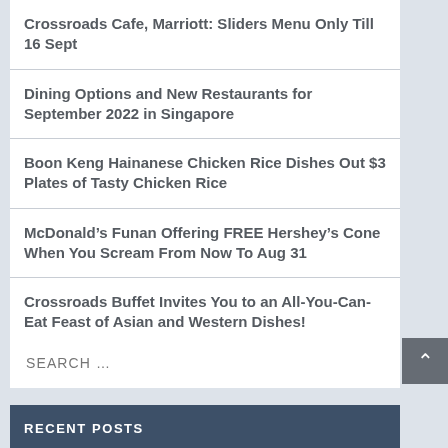Crossroads Cafe, Marriott: Sliders Menu Only Till 16 Sept
Dining Options and New Restaurants for September 2022 in Singapore
Boon Keng Hainanese Chicken Rice Dishes Out $3 Plates of Tasty Chicken Rice
McDonald’s Funan Offering FREE Hershey’s Cone When You Scream From Now To Aug 31
Crossroads Buffet Invites You to an All-You-Can-Eat Feast of Asian and Western Dishes!
SEARCH …
RECENT POSTS